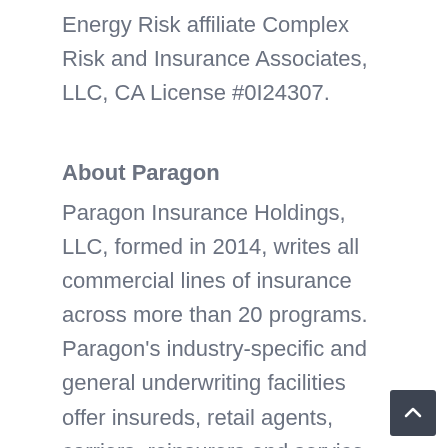Energy Risk affiliate Complex Risk and Insurance Associates, LLC, CA License #0I24307.
About Paragon
Paragon Insurance Holdings, LLC, formed in 2014, writes all commercial lines of insurance across more than 20 programs. Paragon's industry-specific and general underwriting facilities offer insureds, retail agents, carriers, reinsurers and service providers unique product, service, capability, and results. Visit: